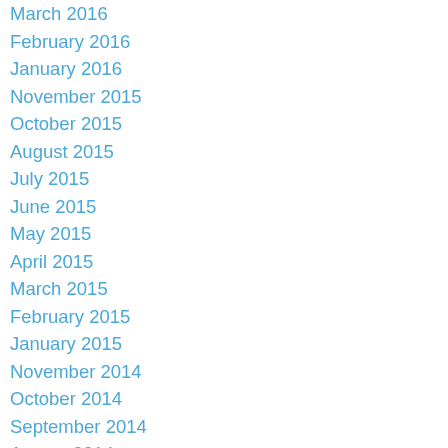March 2016
February 2016
January 2016
November 2015
October 2015
August 2015
July 2015
June 2015
May 2015
April 2015
March 2015
February 2015
January 2015
November 2014
October 2014
September 2014
August 2014
July 2014
May 2014
April 2014
March 2014